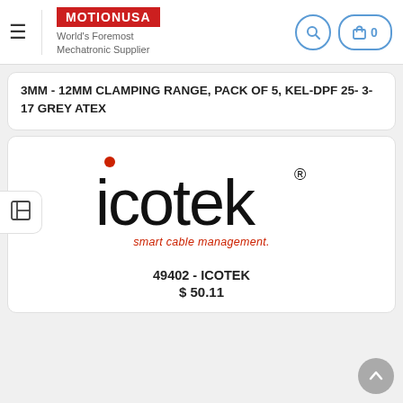MOTIONUSA — World's Foremost Mechatronic Supplier
3MM - 12MM CLAMPING RANGE, PACK OF 5, KEL-DPF 25- 3-17 GREY ATEX
[Figure (logo): icotek logo with red dot above 'i', brand name in large black sans-serif font, registered trademark symbol, tagline 'smart cable management.' in red italic]
49402 - ICOTEK
$ 50.11